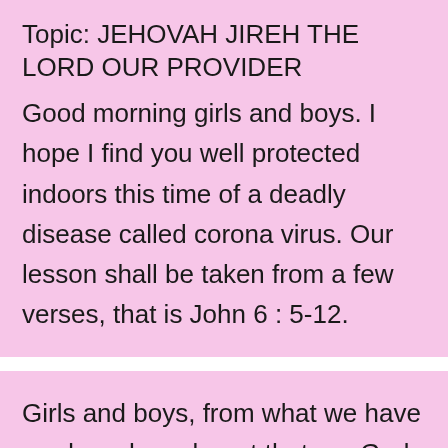Topic: JEHOVAH JIREH THE LORD OUR PROVIDER
Good morning girls and boys. I hope I find you well protected indoors this time of a deadly disease called corona virus. Our lesson shall be taken from a few verses, that is John 6 : 5-12.
Girls and boys, from what we have read, we have learnt that our God is our Provider...that is the meaning of